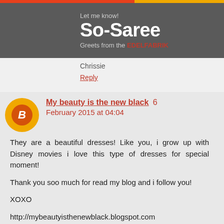So-Saree
Let me know!
Greets from the EDELFABRIK
Chrissie
Reply
My beauty is the new black 6 February 2015 at 04:04
They are a beautiful dresses! Like you, i grow up with Disney movies i love this type of dresses for special moment!
Thank you soo much for read my blog and i follow you!
XOXO
http://mybeautyisthenewblack.blogspot.com
Reply